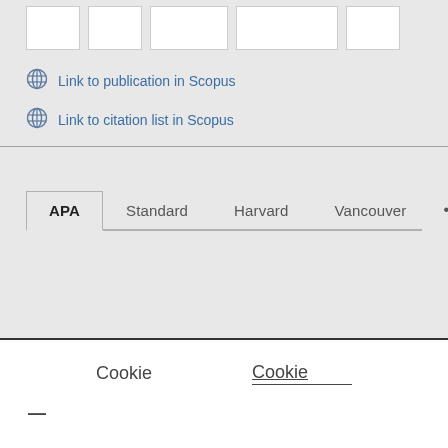[Figure (other): Row of five white rectangular image placeholder boxes on a light grey background]
Link to publication in Scopus
Link to citation list in Scopus
APA  Standard  Harvard  Vancouver  ...
Cookie    Cookie